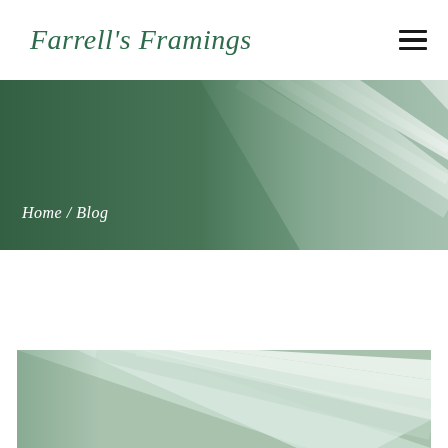Farrell's Framings
[Figure (infographic): Hamburger menu icon (three horizontal black lines)]
[Figure (photo): Hero banner image showing picture frames at an angle with a dark green gradient overlay on the left side]
Home / Blog
[Figure (photo): Close-up photo of picture frames with light sage/green tones, diagonal orientation]